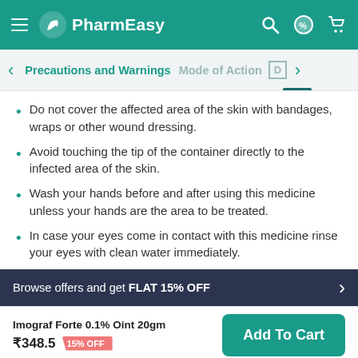PharmEasy
Precautions and Warnings   Mode of Action   D
Do not cover the affected area of the skin with bandages, wraps or other wound dressing.
Avoid touching the tip of the container directly to the infected area of the skin.
Wash your hands before and after using this medicine unless your hands are the area to be treated.
In case your eyes come in contact with this medicine rinse your eyes with clean water immediately.
Browse offers and get FLAT 15% OFF
Imograf Forte 0.1% Oint 20gm ₹348.5  15% OFF